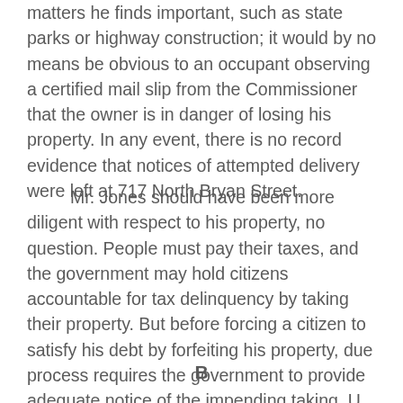matters he finds important, such as state parks or highway construction; it would by no means be obvious to an occupant observing a certified mail slip from the Commissioner that the owner is in danger of losing his property. In any event, there is no record evidence that notices of attempted delivery were left at 717 North Bryan Street.
Mr. Jones should have been more diligent with respect to his property, no question. People must pay their taxes, and the government may hold citizens accountable for tax delinquency by taking their property. But before forcing a citizen to satisfy his debt by forfeiting his property, due process requires the government to provide adequate notice of the impending taking. U. S. Const., Amdt. 14; Mennonite, supra, at 799.
B